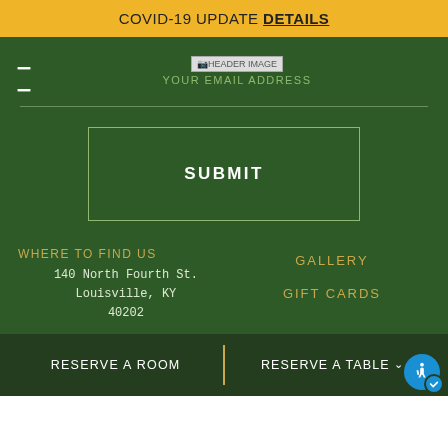COVID-19 UPDATE DETAILS
[Figure (screenshot): Header image placeholder with hamburger menu icon and 'YOUR EMAIL ADDRESS' subtitle text on dark green background]
SUBMIT
WHERE TO FIND US
140 North Fourth St.
Louisville, KY
40202
GALLERY
GIFT CARDS
RESERVE A ROOM | RESERVE A TABLE